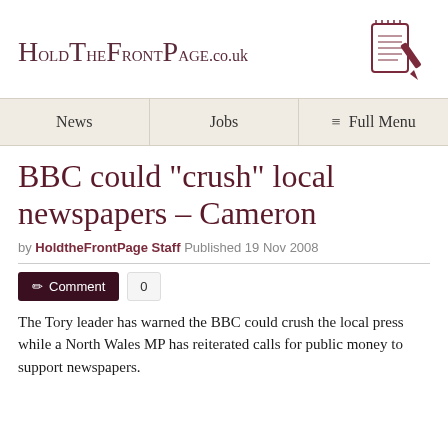[Figure (logo): HoldTheFrontPage.co.uk logo with notebook and pen icon]
News | Jobs | ≡ Full Menu
BBC could "crush" local newspapers – Cameron
by HoldtheFrontPage Staff Published 19 Nov 2008
✎ Comment  0
The Tory leader has warned the BBC could crush the local press while a North Wales MP has reiterated calls for public money to support newspapers.